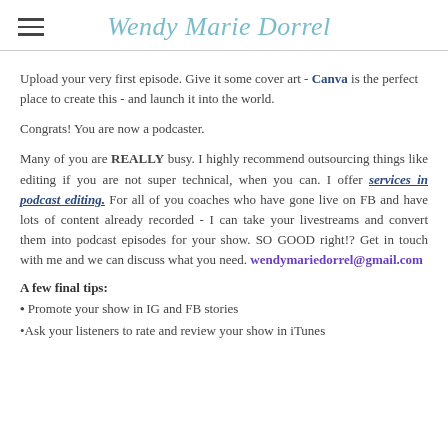Wendy Marie Dorrel
Upload your very first episode. Give it some cover art - Canva is the perfect place to create this - and launch it into the world.
Congrats! You are now a podcaster.
Many of you are REALLY busy. I highly recommend outsourcing things like editing if you are not super technical, when you can. I offer services in podcast editing. For all of you coaches who have gone live on FB and have lots of content already recorded - I can take your livestreams and convert them into podcast episodes for your show. SO GOOD right!? Get in touch with me and we can discuss what you need. wendymariedorrel@gmail.com
A few final tips:
• Promote your show in IG and FB stories
•Ask your listeners to rate and review your show in iTunes